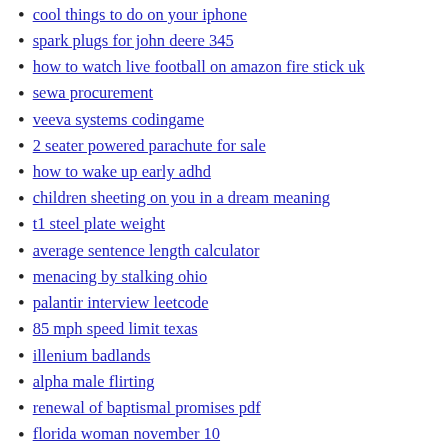cool things to do on your iphone
spark plugs for john deere 345
how to watch live football on amazon fire stick uk
sewa procurement
veeva systems codingame
2 seater powered parachute for sale
how to wake up early adhd
children sheeting on you in a dream meaning
t1 steel plate weight
average sentence length calculator
menacing by stalking ohio
palantir interview leetcode
85 mph speed limit texas
illenium badlands
alpha male flirting
renewal of baptismal promises pdf
florida woman november 10
2022 orange corvette for sale
tattershall lakes email address
engine mount noise
standard poodles needing rehoming
radiator for infiniti g35 2006
4 week body transformation male
craigslist odessa services
leo horoscope 2027